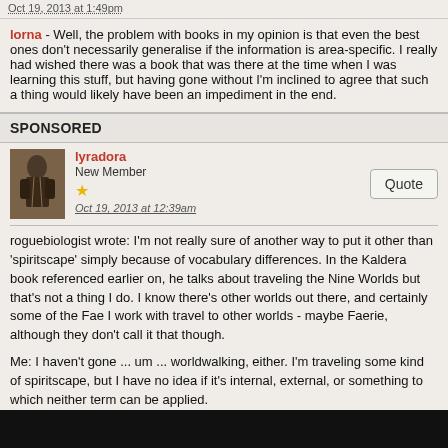Oct 19, 2013 at 1:49pm
lorna - Well, the problem with books in my opinion is that even the best ones don't necessarily generalise if the information is area-specific. I really had wished there was a book that was there at the time when I was learning this stuff, but having gone without I'm inclined to agree that such a thing would likely have been an impediment in the end.
SPONSORED
lyradora
New Member
★
Oct 19, 2013 at 12:39am
roguebiologist wrote: I'm not really sure of another way to put it other than 'spiritscape' simply because of vocabulary differences. In the Kaldera book referenced earlier on, he talks about traveling the Nine Worlds but that's not a thing I do. I know there's other worlds out there, and certainly some of the Fae I work with travel to other worlds - maybe Faerie, although they don't call it that though.

Me: I haven't gone ... um ... worldwalking, either. I'm traveling some kind of spiritscape, but I have no idea if it's internal, external, or something to which neither term can be applied.